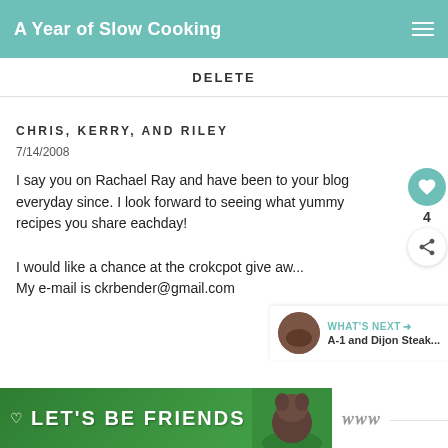A Year of Slow Cooking
DELETE
CHRIS, KERRY, AND RILEY
7/14/2008
I say you on Rachael Ray and have been to your blog everyday since. I look forward to seeing what yummy recipes you share eachday!

I would like a chance at the crokcpot give aw... My e-mail is ckrbender@gmail.com
DELETE
[Figure (screenshot): LET'S BE FRIENDS ad banner with dog image and close button]